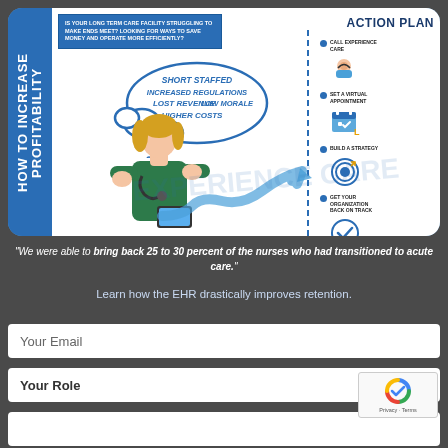[Figure (infographic): Infographic card titled 'HOW TO INCREASE PROFITABILITY' on left blue sidebar. Shows a nurse figure with thought bubble listing: SHORT STAFFED, INCREASED REGULATIONS, LOST REVENUE, LOW MORALE, HIGHER COSTS. Right side has ACTION PLAN with steps: CALL EXPERIENCE CARE, SET A VIRTUAL APPOINTMENT, BUILD A STRATEGY, GET YOUR ORGANIZATION BACK ON TRACK. Blue arrow pointing right with upward trajectory in center.]
"We were able to bring back 25 to 30 percent of the nurses who had transitioned to acute care."
Learn how the EHR drastically improves retention.
Your Email
Your Role